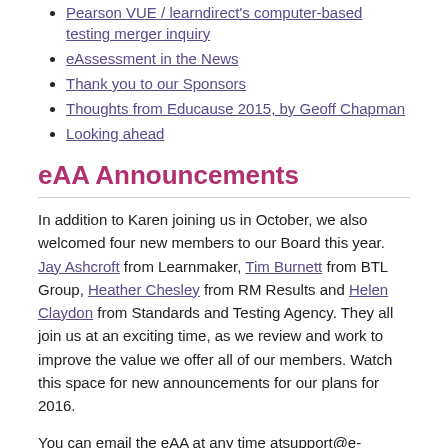Pearson VUE / learndirect's computer-based testing merger inquiry
eAssessment in the News
Thank you to our Sponsors
Thoughts from Educause 2015, by Geoff Chapman
Looking ahead
eAA Announcements
In addition to Karen joining us in October, we also welcomed four new members to our Board this year. Jay Ashcroft from Learnmaker, Tim Burnett from BTL Group, Heather Chesley from RM Results and Helen Claydon from Standards and Testing Agency. They all join us at an exciting time, as we review and work to improve the value we offer all of our members. Watch this space for new announcements for our plans for 2016.
You can email the eAA at any time atsupport@e-assessment.com
Article by Alison Rogers, Chief Executive of the